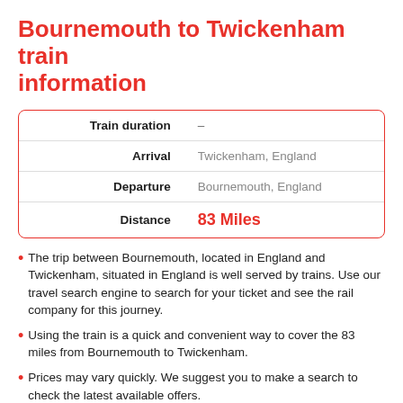Bournemouth to Twickenham train information
| Label | Value |
| --- | --- |
| Train duration | – |
| Arrival | Twickenham, England |
| Departure | Bournemouth, England |
| Distance | 83 Miles |
The trip between Bournemouth, located in England and Twickenham, situated in England is well served by trains. Use our travel search engine to search for your ticket and see the rail company for this journey.
Using the train is a quick and convenient way to cover the 83 miles from Bournemouth to Twickenham.
Prices may vary quickly. We suggest you to make a search to check the latest available offers.